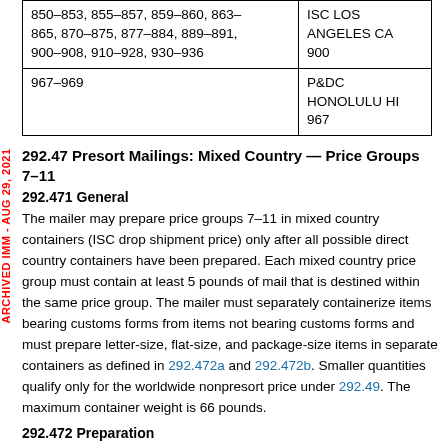| ZIP Code Ranges | Destination |
| --- | --- |
| 850–853, 855–857, 859–860, 863–865, 870–875, 877–884, 889–891, 900–908, 910–928, 930–936 | ISC LOS ANGELES CA 900 |
| 967–969 | P&DC HONOLULU HI 967 |
292.47 Presort Mailings: Mixed Country — Price Groups 7–11
292.471 General
The mailer may prepare price groups 7–11 in mixed country containers (ISC drop shipment price) only after all possible direct country containers have been prepared. Each mixed country price group must contain at least 5 pounds of mail that is destined within the same price group. The mailer must separately containerize items bearing customs forms from items not bearing customs forms and must prepare letter-size, flat-size, and package-size items in separate containers as defined in 292.472a and 292.472b. Smaller quantities qualify only for the worldwide nonpresort price under 292.49. The maximum container weight is 66 pounds.
292.472 Preparation
The mailer must prepare mixed country containers of presorted